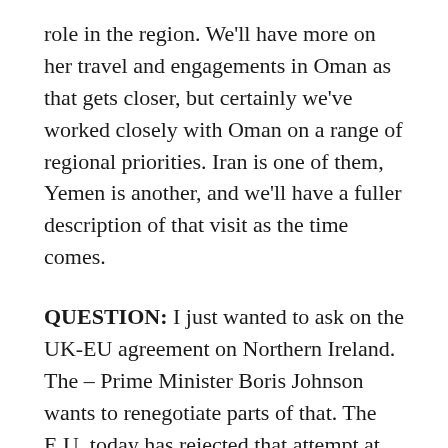role in the region. We'll have more on her travel and engagements in Oman as that gets closer, but certainly we've worked closely with Oman on a range of regional priorities. Iran is one of them, Yemen is another, and we'll have a fuller description of that visit as the time comes.
QUESTION: I just wanted to ask on the UK-EU agreement on Northern Ireland. The – Prime Minister Boris Johnson wants to renegotiate parts of that. The E.U. today has rejected that attempt at renegotiation, just saying that it imperiled the Good Friday Agreement, among other things. Just wanted to know where the U.S. stands. Are they – is the U.S. worried about the Good Friday Agreement or is the U.S. worried about the flow of goods between the UK and – between Northern